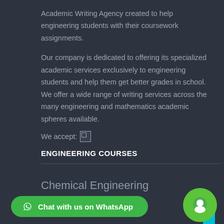Academic Writing Agency created to help engineering students with their coursework assignments.
Our company is dedicated to offering its specialized academic services exclusively to engineering students and help them get better grades in school. We offer a wide range of writing services across the many engineering and mathematics academic spheres available.
We accept: [image]
ENGINEERING COURSES
Chemical Engineering
Civil Engineering